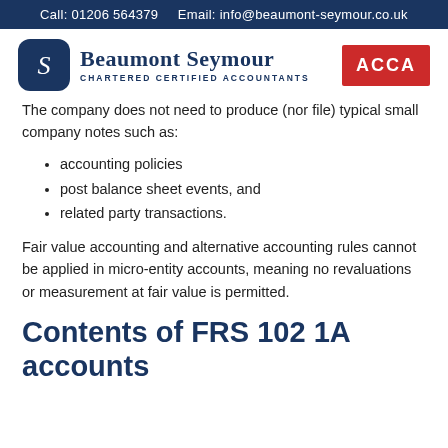Call: 01206 564379   Email: info@beaumont-seymour.co.uk
[Figure (logo): Beaumont Seymour Chartered Certified Accountants logo with dark blue rounded square icon and ACCA badge]
The company does not need to produce (nor file) typical small company notes such as:
accounting policies
post balance sheet events, and
related party transactions.
Fair value accounting and alternative accounting rules cannot be applied in micro-entity accounts, meaning no revaluations or measurement at fair value is permitted.
Contents of FRS 102 1A accounts